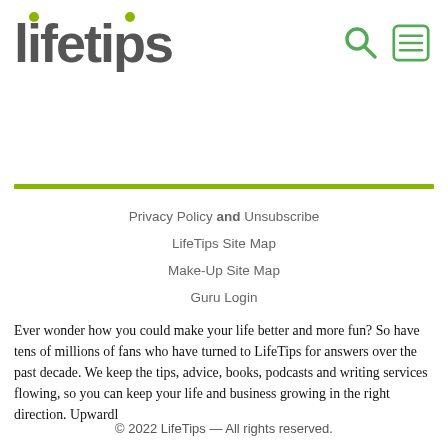lifetips [logo with search and menu icons]
Privacy Policy and Unsubscribe
LifeTips Site Map
Make-Up Site Map
Guru Login
Ever wonder how you could make your life better and more fun? So have tens of millions of fans who have turned to LifeTips for answers over the past decade. We keep the tips, advice, books, podcasts and writing services flowing, so you can keep your life and business growing in the right direction. Upwardl
© 2022 LifeTips — All rights reserved.